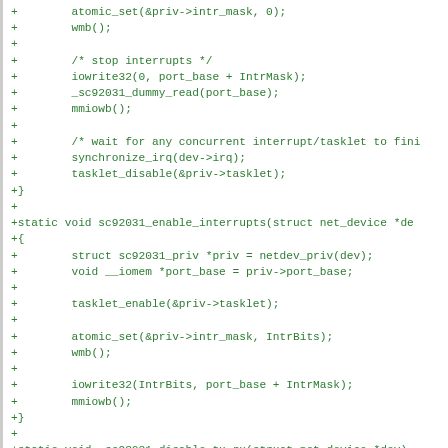[Figure (screenshot): Code diff screenshot showing C code additions for interrupt handling functions: atomic_set, wmb, iowrite32, mmiowb, synchronize_irq, tasklet_disable/enable, and sc92031_enable_interrupts / _sc92031_disable_tx_rx function stubs.]